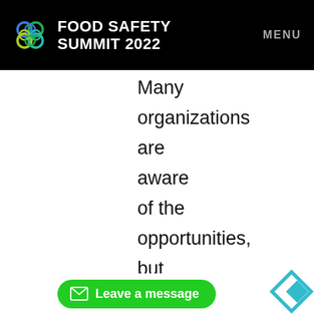FOOD SAFETY SUMMIT 2022  MENU
Many organizations are aware of the opportunities, but making the shift towards
[Figure (other): Green rounded button with envelope icon and text 'Leave a message', with a teal diamond/arrow icon to the right]